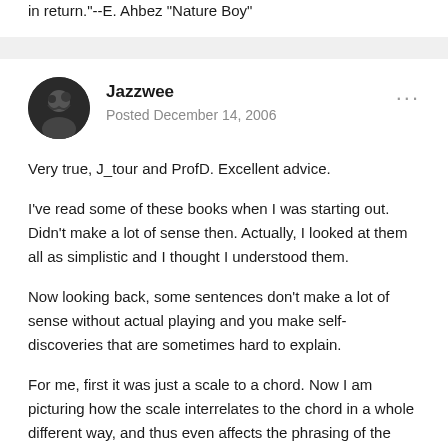in return."--E. Ahbez "Nature Boy"
Jazzwee
Posted December 14, 2006
Very true, J_tour and ProfD. Excellent advice.
I've read some of these books when I was starting out. Didn't make a lot of sense then. Actually, I looked at them all as simplistic and I thought I understood them.
Now looking back, some sentences don't make a lot of sense without actual playing and you make self-discoveries that are sometimes hard to explain.
For me, first it was just a scale to a chord. Now I am picturing how the scale interrelates to the chord in a whole different way, and thus even affects the phrasing of the line. In my case, it wasn't books that changed my view. It's teachers. I kind of use books as filler to elaborate on what the teachers already mentioned